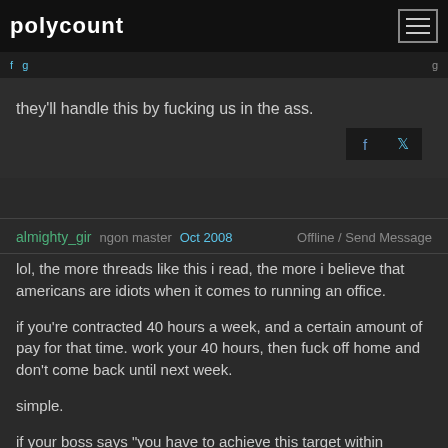polycount
they'll handle this by fucking us in the ass.
almighty_gir  ngon master  Oct 2008    Offline / Send Message
lol, the more threads like this i read, the more i believe that americans are idiots when it comes to running an office.

if you're contracted 40 hours a week, and a certain amount of pay for that time. work your 40 hours, then fuck off home and don't come back until next week.

simple.

if your boss says "you have to achieve this target within